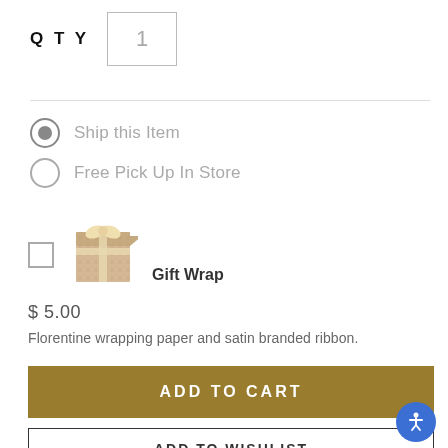QTY  1
Ship this Item
Free Pick Up In Store
[Figure (illustration): Gift wrapped box with Florentine paper and satin ribbon]
Gift Wrap
$ 5.00
Florentine wrapping paper and satin branded ribbon.
ADD TO CART
ADD TO WISHLIST